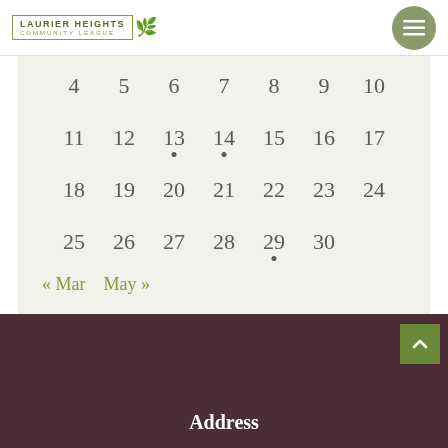Laurier Heights Community League
| 4 | 5 | 6 | 7 | 8 | 9 | 10 |
| 11 | 12 | 13 | 14 | 15 | 16 | 17 |
| 18 | 19 | 20 | 21 | 22 | 23 | 24 |
| 25 | 26 | 27 | 28 | 29 | 30 |  |
« Mar   May »
Address